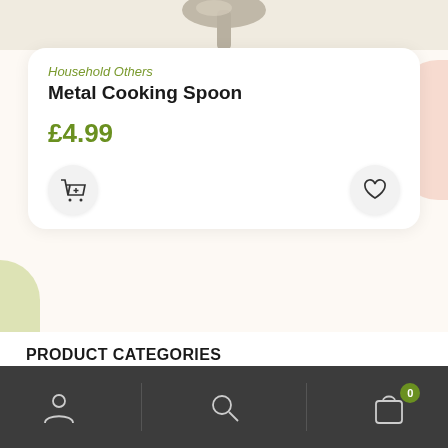[Figure (photo): Top of a metal cooking spoon visible at top of screen, partially cropped]
Household Others
Metal Cooking Spoon
£4.99
[Figure (illustration): Add to cart button (shopping cart icon) and favourite/wishlist button (heart icon)]
PRODUCT CATEGORIES
Bakery
Bottom navigation bar with user profile icon, search icon, and shopping bag icon with badge showing 0